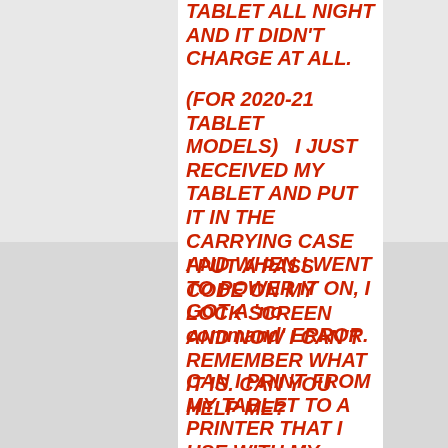TABLET ALL NIGHT AND IT DIDN'T CHARGE AT ALL.
(FOR 2020-21 TABLET MODELS)   I JUST RECEIVED MY TABLET AND PUT IT IN THE CARRYING CASE AND WHEN I WENT TO POWER IT ON, I GOT A 'no command' ERROR.
I PUT A PASS CODE ON MY LOCK SCREEN AND NOW I CAN'T REMEMBER WHAT IT IS. CAN YOU HELP ME?
CAN I PRINT FROM MY TABLET TO A PRINTER THAT I USE WITH MY DESKTOP COMPUTER?